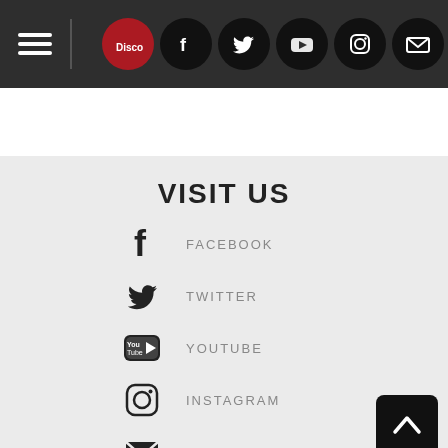[Figure (screenshot): Website navigation bar with hamburger menu icon on left, and social media icons (Discogs, Facebook, Twitter, YouTube, Instagram, Email) on right, dark background.]
VISIT US
FACEBOOK
TWITTER
YOUTUBE
INSTAGRAM
EMAIL
2022 COPYRIGHT © EASY STREET RECORDS